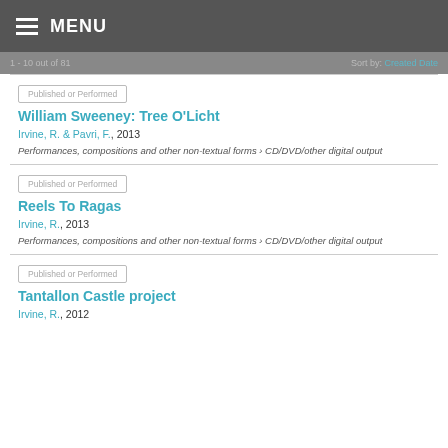MENU
10 out of 81   Sort by: Created Date
Published or Performed
William Sweeney: Tree O'Licht
Irvine, R. & Pavri, F., 2013
Performances, compositions and other non-textual forms › CD/DVD/other digital output
Published or Performed
Reels To Ragas
Irvine, R., 2013
Performances, compositions and other non-textual forms › CD/DVD/other digital output
Published or Performed
Tantallon Castle project
Irvine, R., 2012